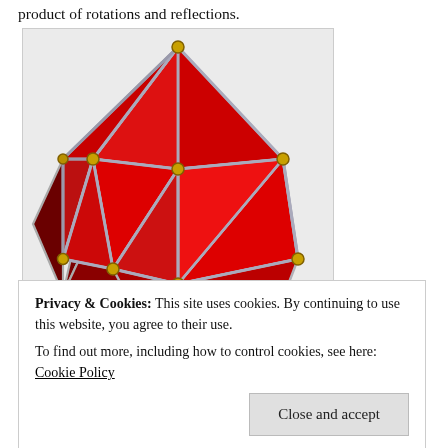product of rotations and reflections.
[Figure (illustration): 3D rendering of an icosahedron with red triangular faces, gray edges, and gold/yellow vertices, shown from a slightly elevated perspective on a light gray background.]
Privacy & Cookies: This site uses cookies. By continuing to use this website, you agree to their use.
To find out more, including how to control cookies, see here: Cookie Policy
Close and accept
o t ll t th th d f 100 h l d d